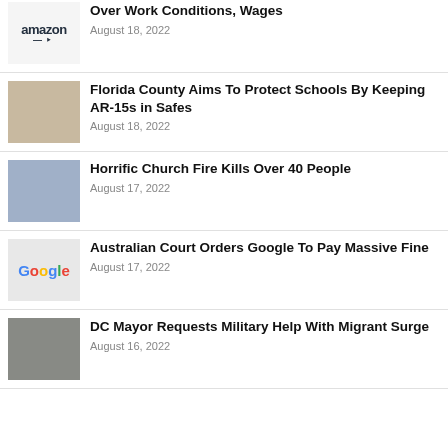Over Work Conditions, Wages — August 18, 2022
Florida County Aims To Protect Schools By Keeping AR-15s in Safes — August 18, 2022
Horrific Church Fire Kills Over 40 People — August 17, 2022
Australian Court Orders Google To Pay Massive Fine — August 17, 2022
DC Mayor Requests Military Help With Migrant Surge — August 16, 2022